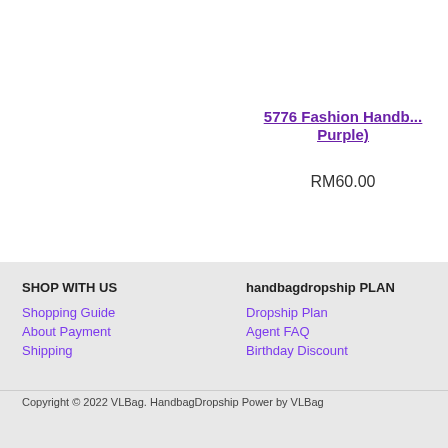5776 Fashion Handbag (Purple)
RM60.00
SHOP WITH US
Shopping Guide
About Payment
Shipping
handbagdropship PLAN
Dropship Plan
Agent FAQ
Birthday Discount
Copyright © 2022 VLBag. HandbagDropship Power by VLBag